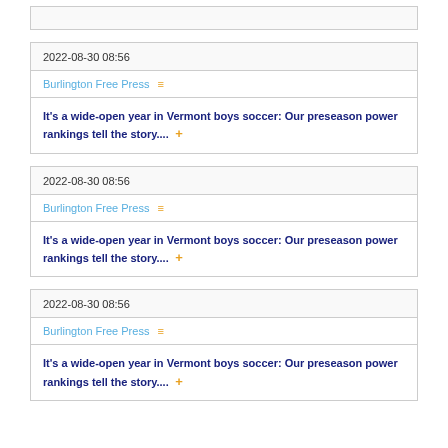2022-08-30 08:56
Burlington Free Press
It's a wide-open year in Vermont boys soccer: Our preseason power rankings tell the story....
2022-08-30 08:56
Burlington Free Press
It's a wide-open year in Vermont boys soccer: Our preseason power rankings tell the story....
2022-08-30 08:56
Burlington Free Press
It's a wide-open year in Vermont boys soccer: Our preseason power rankings tell the story....